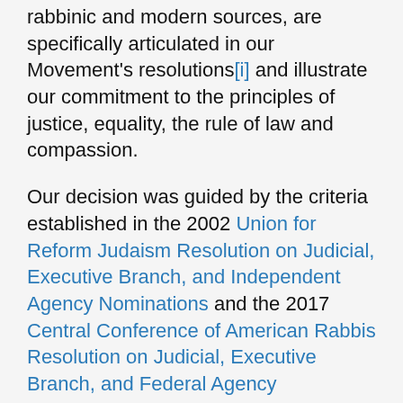rabbinic and modern sources, are specifically articulated in our Movement's resolutions[i] and illustrate our commitment to the principles of justice, equality, the rule of law and compassion.
Our decision was guided by the criteria established in the 2002 Union for Reform Judaism Resolution on Judicial, Executive Branch, and Independent Agency Nominations and the 2017 Central Conference of American Rabbis Resolution on Judicial, Executive Branch, and Federal Agency Appointees. These resolutions outline considerations to weigh when making a determination regarding a nomination.
In the case of Judge Kavanaugh, among the considerations was that the nominee “on one or more issues of core concern to the Reform Movement…would likely contribute significantly to reshaping American jurisprudence or policy in a